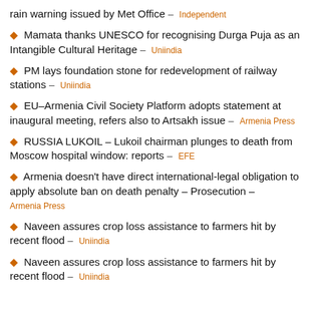rain warning issued by Met Office – Independent
Mamata thanks UNESCO for recognising Durga Puja as an Intangible Cultural Heritage – Uniindia
PM lays foundation stone for redevelopment of railway stations – Uniindia
EU–Armenia Civil Society Platform adopts statement at inaugural meeting, refers also to Artsakh issue – Armenia Press
RUSSIA LUKOIL – Lukoil chairman plunges to death from Moscow hospital window: reports – EFE
Armenia doesn't have direct international-legal obligation to apply absolute ban on death penalty – Prosecution – Armenia Press
Naveen assures crop loss assistance to farmers hit by recent flood – Uniindia
Naveen assures crop loss assistance to farmers hit by recent flood – Uniindia